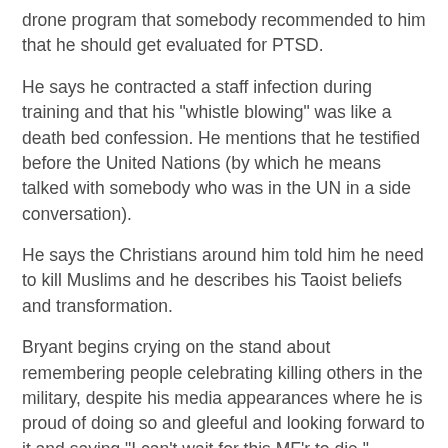drone program that somebody recommended to him that he should get evaluated for PTSD.
He says he contracted a staff infection during training and that his "whistle blowing" was like a death bed confession. He mentions that he testified before the United Nations (by which he means talked with somebody who was in the UN in a side conversation).
He says the Christians around him told him he need to kill Muslims and he describes his Taoist beliefs and transformation.
Bryant begins crying on the stand about remembering people celebrating killing others in the military, despite his media appearances where he is proud of doing so and gleeful and looking forward to it and saying "I can't wait for this MF'r to die."
Bryant says he doesn't think words are violence.
With all the talk of Bryant's spiritual life, it will be interesting to see if the prosecution asks him about the "black magic